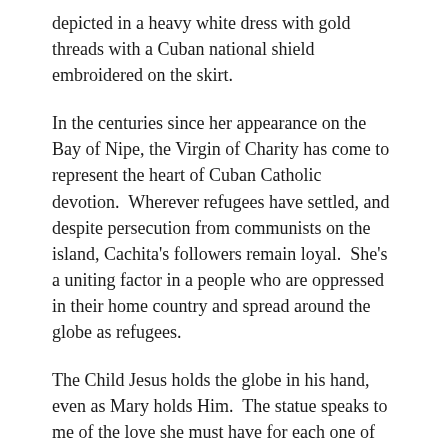depicted in a heavy white dress with gold threads with a Cuban national shield embroidered on the skirt.
In the centuries since her appearance on the Bay of Nipe, the Virgin of Charity has come to represent the heart of Cuban Catholic devotion.  Wherever refugees have settled, and despite persecution from communists on the island, Cachita's followers remain loyal.  She's a uniting factor in a people who are oppressed in their home country and spread around the globe as refugees.
The Child Jesus holds the globe in his hand, even as Mary holds Him.  The statue speaks to me of the love she must have for each one of us.  Maybe our oppression doesn't involve Communists, but sin can so very easily weigh us down with its promise of an easy answer, a quick recovery, a fast escape.